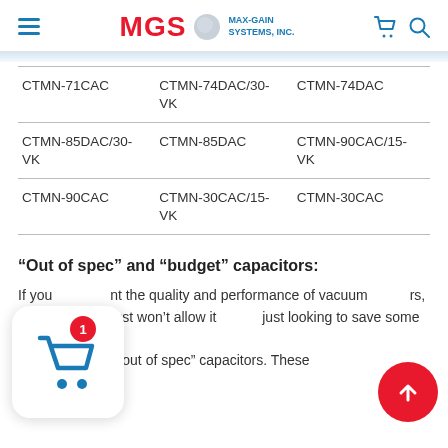MGS MAX-GAIN SYSTEMS, INC.
| CTMN-71CAC | CTMN-74DAC/30-VK | CTMN-74DAC |
| CTMN-85DAC/30-VK | CTMN-85DAC | CTMN-90CAC/15-VK |
| CTMN-90CAC | CTMN-30CAC/15-VK | CTMN-30CAC |
“Out of spec” and “budget” capacitors:
If you want the quality and performance of vacuum capacitors, but the budget just won’t allow it (or just looking to save some money) we frequently have “out of spec” capacitors. These